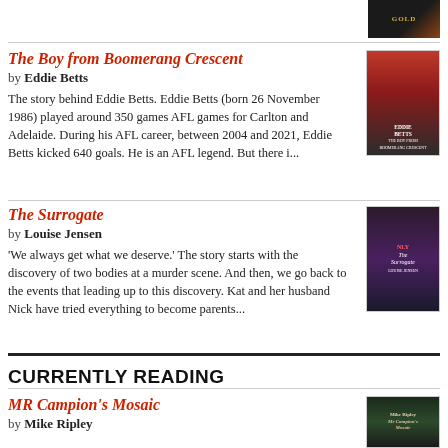[Figure (photo): Book cover thumbnail at top right, dark background with gold text reading GOLD]
The Boy from Boomerang Crescent by Eddie Betts. The story behind Eddie Betts. Eddie Betts (born 26 November 1986) played around 350 games AFL games for Carlton and Adelaide. During his AFL career, between 2004 and 2021, Eddie Betts kicked 640 goals. He is an AFL legend. But there i...
[Figure (photo): Book cover for The Boy from Boomerang Crescent by Eddie Betts]
The Surrogate by Louise Jensen. 'We always get what we deserve.' The story starts with the discovery of two bodies at a murder scene. And then, we go back to the events that leading up to this discovery. Kat and her husband Nick have tried everything to become parents...
[Figure (photo): Book cover for The Surrogate by Louise Jensen]
CURRENTLY READING
MR Campion's Mosaic by Mike Ripley
[Figure (photo): Book cover for MR Campion's Mosaic by Mike Ripley]